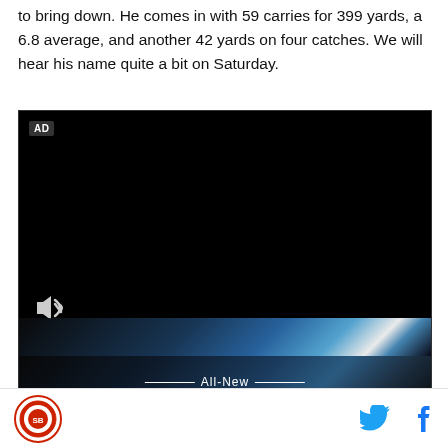to bring down. He comes in with 59 carries for 399 yards, a 6.8 average, and another 42 yards on four catches. We will hear his name quite a bit on Saturday.
[Figure (screenshot): Video player with AD badge in top-left corner, volume icon at bottom-left, a blue light streak graphic across the lower portion, a bottom black section with 'All-New' text and partial 'HRX' letters visible]
[Figure (logo): Circular red-bordered logo at bottom left, resembling a sports team emblem]
[Figure (other): Twitter (bird) icon and Facebook (f) icon at bottom right for social sharing]